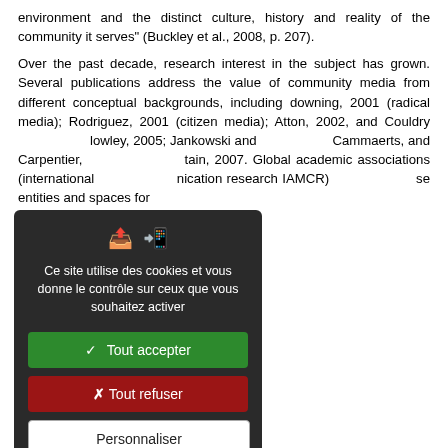environment and the distinct culture, history and reality of the community it serves" (Buckley et al., 2008, p. 207).
Over the past decade, research interest in the subject has grown. Several publications address the value of community media from different conceptual backgrounds, including downing, 2001 (radical media); Rodriguez, 2001 (citizen media); Atton, 2002, and Couldry [...]owley, 2005; Jankowski and [...]Cammaerts, and Carpentier, [...]tain, 2007. Global academic associations (international [...]nication research IAMCR) [...]se entities and spaces for
haracteristics of community
control are ultimately in the
nt citizens' groups,
fit entities;
o are not professional media
tion and organization, thus
e producers and passive
[Figure (screenshot): Cookie consent modal overlay with dark background. Contains icons, text 'Ce site utilise des cookies et vous donne le contrôle sur ceux que vous souhaitez activer', green 'Tout accepter' button, red 'Tout refuser' button, white 'Personnaliser' button, and 'Politique de confidentialité' link.]